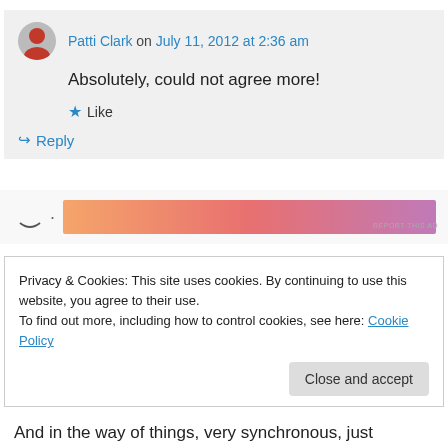Patti Clark on July 11, 2012 at 2:36 am
Absolutely, could not agree more!
★ Like
↪ Reply
[Figure (other): Advertisement banner with gradient orange-pink-purple colors, with a smiley face icon and dot to the left]
REPORT THIS AD
Privacy & Cookies: This site uses cookies. By continuing to use this website, you agree to their use.
To find out more, including how to control cookies, see here: Cookie Policy
Close and accept
And in the way of things, very synchronous, just